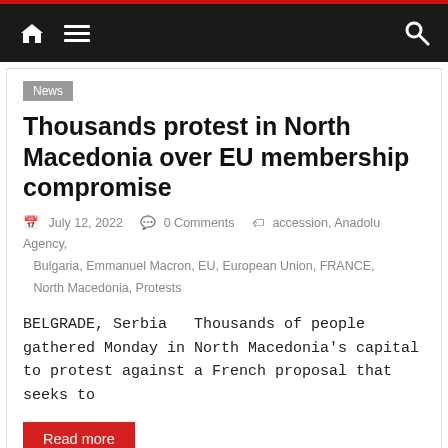Navigation bar with home icon, menu icon, and search icon
News
Thousands protest in North Macedonia over EU membership compromise
July 12, 2022   0 Comments   accession, Anadolu Agency, Bulgaria, Emmanuel Macron, EU, European Union, FRANCE, North Macedonia, Protests
BELGRADE, Serbia  Thousands of people gathered Monday in North Macedonia's capital to protest against a French proposal that seeks to
Read more
Latest